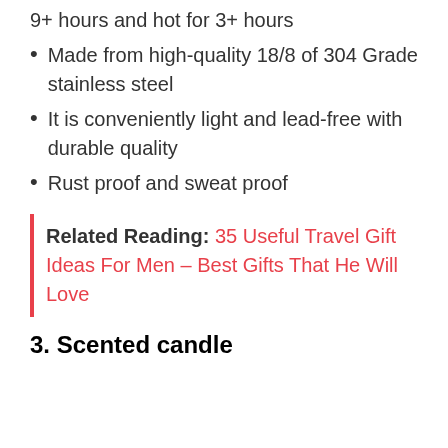9+ hours and hot for 3+ hours
Made from high-quality 18/8 of 304 Grade stainless steel
It is conveniently light and lead-free with durable quality
Rust proof and sweat proof
Related Reading: 35 Useful Travel Gift Ideas For Men – Best Gifts That He Will Love
3. Scented candle